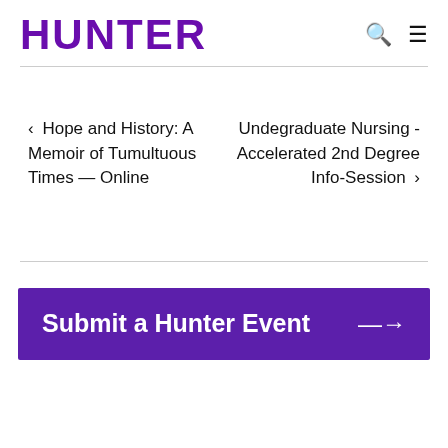HUNTER
< Hope and History: A Memoir of Tumultuous Times — Online
Undegraduate Nursing - Accelerated 2nd Degree Info-Session >
Submit a Hunter Event →